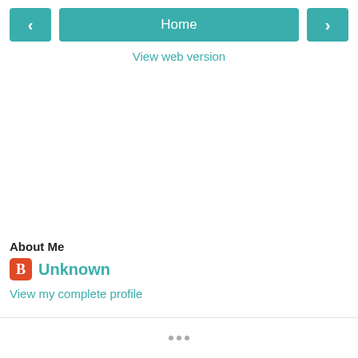< Home >
View web version
About Me
Unknown
View my complete profile